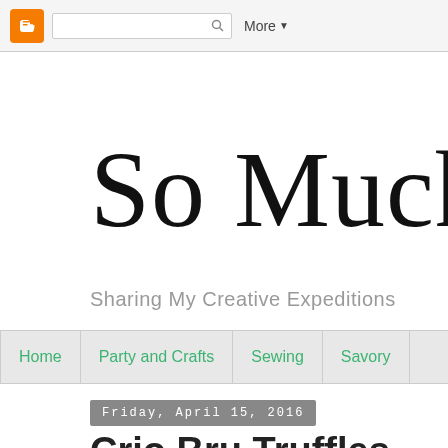Blogger navigation bar with search and More button
So Much T
Sharing My Creative Expeditions
Home | Party and Crafts | Sewing | Savory
Friday, April 15, 2016
Crio Bru Truffles